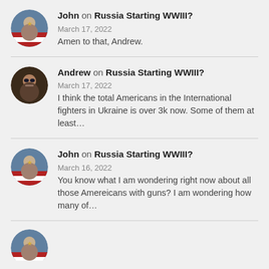John on Russia Starting WWIII?
March 17, 2022
Amen to that, Andrew.
Andrew on Russia Starting WWIII?
March 17, 2022
I think the total Americans in the International fighters in Ukraine is over 3k now. Some of them at least…
John on Russia Starting WWIII?
March 16, 2022
You know what I am wondering right now about all those Amereicans with guns? I am wondering how many of…